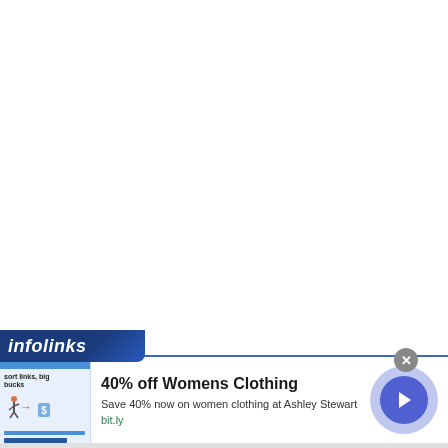[Figure (screenshot): White empty page area — blank content region above advertisement]
[Figure (screenshot): Infolinks advertisement banner. Shows 'infolinks' logo bar in navy blue, below it an ad for '40% off Womens Clothing' with subtitle 'Save 40% now on women clothing at Ashley Stewart', link 'bit.ly', a thumbnail image on the left, and a blue circular arrow button on the right. A grey close (X) button appears at top right of the ad.]